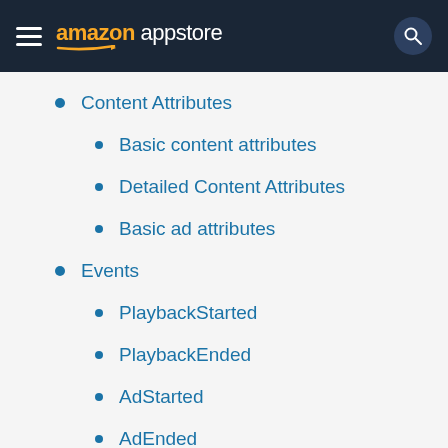amazon appstore
Content Attributes
Basic content attributes
Detailed Content Attributes
Basic ad attributes
Events
PlaybackStarted
PlaybackEnded
AdStarted
AdEnded
In-app purchase result
Authentication Request
Authentication Result